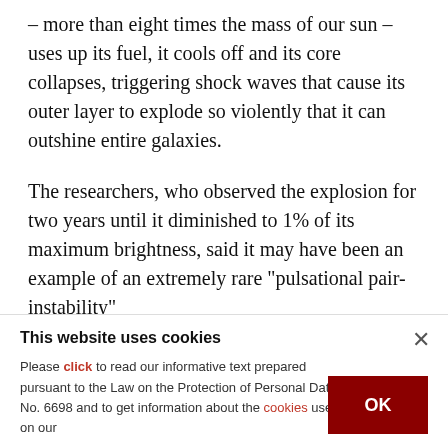– more than eight times the mass of our sun – uses up its fuel, it cools off and its core collapses, triggering shock waves that cause its outer layer to explode so violently that it can outshine entire galaxies.
The researchers, who observed the explosion for two years until it diminished to 1% of its maximum brightness, said it may have been an example of an extremely rare "pulsational pair-instability" supernova.
This website uses cookies
Please click to read our informative text prepared pursuant to the Law on the Protection of Personal Data No. 6698 and to get information about the cookies used on our